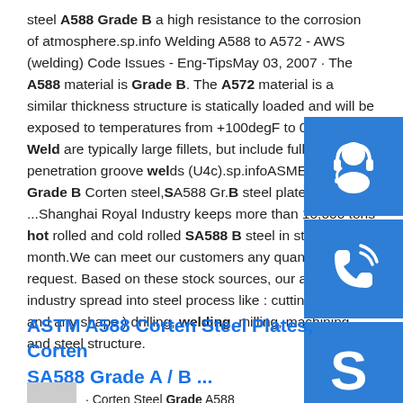steel A588 Grade B a high resistance to the corrosion of atmosphere.sp.info Welding A588 to A572 - AWS (welding) Code Issues - Eng-TipsMay 03, 2007 · The A588 material is Grade B. The A572 material is a similar thickness structure is statically loaded and will be exposed to temperatures from +100degF to 0degF. Weld are typically large fillets, but include full penetration groove welds (U4c).sp.infoASME SA588 Grade B Corten steel,SA588 Gr.B steel plate ...Shanghai Royal Industry keeps more than 10,000 tons hot rolled and cold rolled SA588 B steel in stock each month.We can meet our customers any quantity request. Based on these stock source, our advantage industry spread into steel process like : cutting ( any size and any shape ) drilling, welding, milling, machining and steel structure.
[Figure (illustration): Three blue icons stacked vertically on the right side: headset/customer support icon, phone icon, and Skype icon]
ASTM A588 Corten Steel Plates, Corten SA588 Grade A / B ...
Corten Steel Grade A588